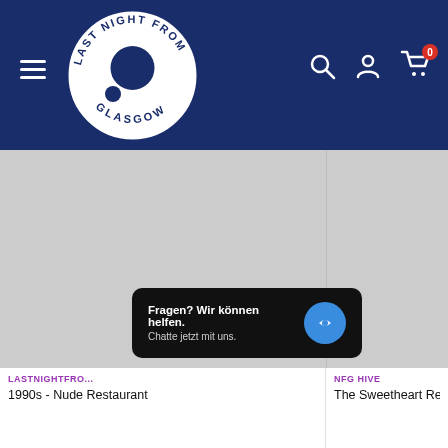[Figure (logo): Last Night From Glasgow circular logo — white circle on dark navy background with text around the ring and a dot/hole in the center]
[Figure (screenshot): Two-column product image area with light grey placeholder backgrounds. Left column wider, right column narrower, separated by thin border.]
LASTNIGHTFRO...
NFG HIVE
1990s - Nude Restaurant
The Sweetheart Rev...
[Figure (screenshot): Chat popup overlay: dark background with text 'Fragen? Wir können helfen. Chatte jetzt mit uns.' and a blue circular chat icon button.]